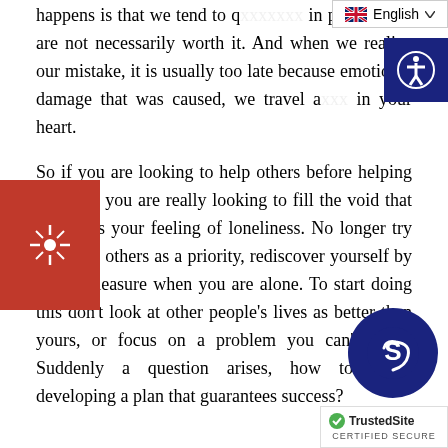happens is that we tend to q... in people who are not necessarily worth it. And when we realize our mistake, it is usually too late because emotional damage that was caused, we travel a... in your heart.

So if you are looking to help others before helping yourself, you are really looking to fill the void that heightens your feeling of loneliness. No longer try to please others as a priority, rediscover yourself by taking pleasure when you are alone. To start doing this don't look at other people's lives as better than yours, or focus on a problem you can't solve. Suddenly a question arises, how to ... ut developing a plan that guarantees success?